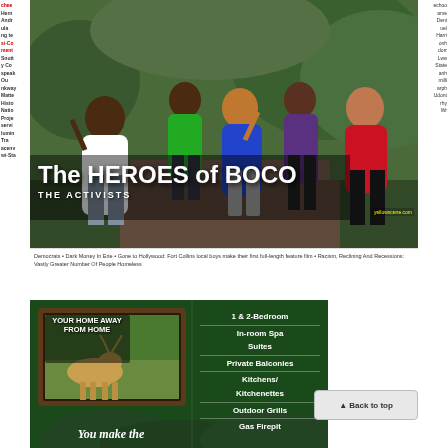[Figure (photo): Magazine cover showing group of activists walking outdoors with greenery behind them. Title reads 'The HEROES of BOCO - THE ACTIVISTS'. Includes yellowscene.com credit and ticker text at bottom.]
Democrats • Dark Money In Erie • Gone to Hollywood: Fort Collins local boys make their first full-length feature film • Racism, Reclining And Recessions: Vastly Greater Number Of People Homeless
[Figure (photo): Advertisement for lodging showing framed photo of elk grazing, text 'YOUR HOME AWAY FROM HOME', and amenities list including 1 & 2-Bedroom, In-room Spa Suites, Private Balconies, Kitchens/Kitchenettes, Outdoor Grills, Gas Firepit. Bottom text reads 'You make the']
Back to top